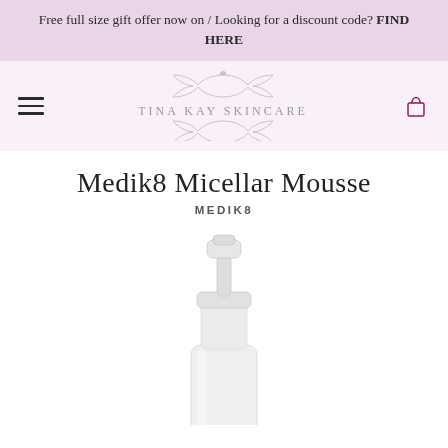Free full size gift offer now on / Looking for a discount code? FIND HERE
[Figure (logo): Tina Kay Skincare logo with decorative flourishes above and below the text. Text reads TINA KAY SKINCARE in spaced capitals.]
Medik8 Micellar Mousse
MEDIK8
[Figure (photo): A white foam pump dispenser bottle (Medik8 Micellar Mousse) on a white background, showing the bottle from the mid-section upward with the pump nozzle visible at the top.]